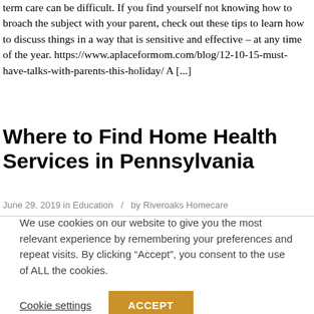term care can be difficult. If you find yourself not knowing how to broach the subject with your parent, check out these tips to learn how to discuss things in a way that is sensitive and effective – at any time of the year. https://www.aplaceformom.com/blog/12-10-15-must-have-talks-with-parents-this-holiday/ A [...]
Where to Find Home Health Services in Pennsylvania
June 29, 2019 in Education / by Riveroaks Homecare
We use cookies on our website to give you the most relevant experience by remembering your preferences and repeat visits. By clicking "Accept", you consent to the use of ALL the cookies.
Cookie settings  ACCEPT